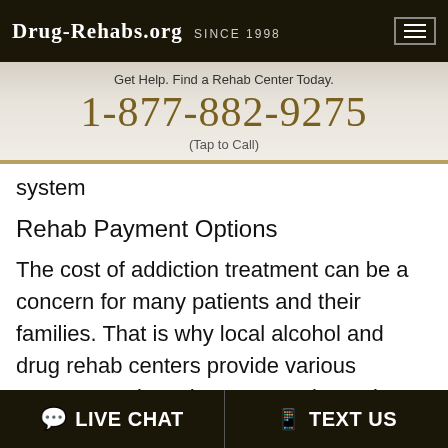Drug-Rehabs.org Since 1998
Get Help. Find a Rehab Center Today.
1-877-882-9275
(Tap to Call)
system
Rehab Payment Options
The cost of addiction treatment can be a concern for many patients and their families. That is why local alcohol and drug rehab centers provide various payment options that cater to the various financial realities of clients. Here are some of the forms of payment accepted by these rehabilitation centers: private medical insurance, cash or self-
LIVE CHAT  TEXT US